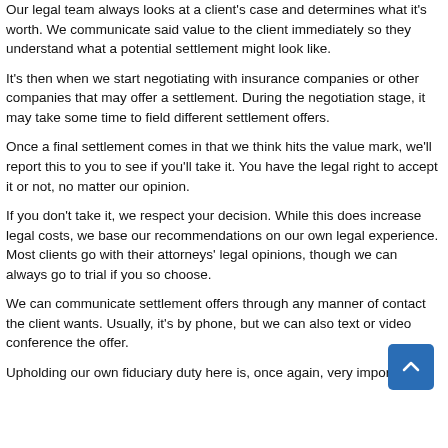Our legal team always looks at a client's case and determines what it's worth. We communicate said value to the client immediately so they understand what a potential settlement might look like.
It's then when we start negotiating with insurance companies or other companies that may offer a settlement. During the negotiation stage, it may take some time to field different settlement offers.
Once a final settlement comes in that we think hits the value mark, we'll report this to you to see if you'll take it. You have the legal right to accept it or not, no matter our opinion.
If you don't take it, we respect your decision. While this does increase legal costs, we base our recommendations on our own legal experience. Most clients go with their attorneys' legal opinions, though we can always go to trial if you so choose.
We can communicate settlement offers through any manner of contact the client wants. Usually, it's by phone, but we can also text or video conference the offer.
Upholding our own fiduciary duty here is, once again, very important.